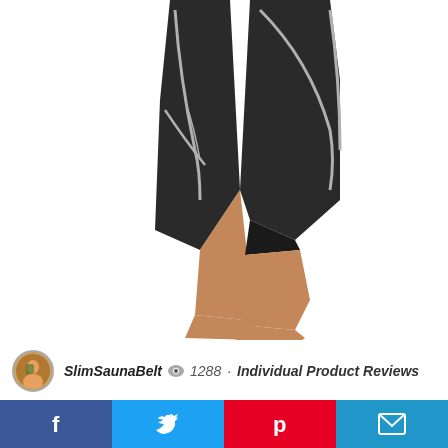[Figure (photo): A person wearing black compression leggings/shorts with light grey accent stripes, shown from the waist down, barefoot on a white background. The person is mid-stride or in an active pose.]
SlimSaunaBelt  👁 1288 · Individual Product Reviews
$27.00
[Figure (other): Social sharing bar with Facebook, Twitter, Pinterest, and Email icons]